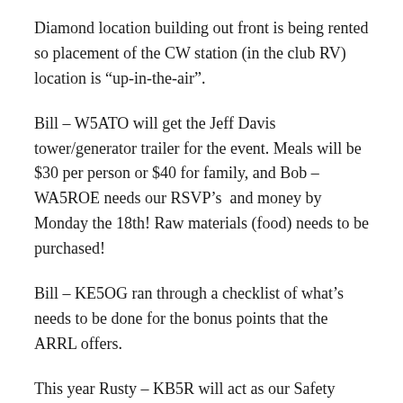Diamond location building out front is being rented so placement of the CW station (in the club RV) location is “up-in-the-air”.
Bill – W5ATO will get the Jeff Davis tower/generator trailer for the event. Meals will be $30 per person or $40 for family, and Bob – WA5ROE needs our RSVP’s  and money by Monday the 18th! Raw materials (food) needs to be purchased!
Bill – KE5OG ran through a checklist of what’s needs to be done for the bonus points that the ARRL offers.
This year Rusty – KB5R will act as our Safety